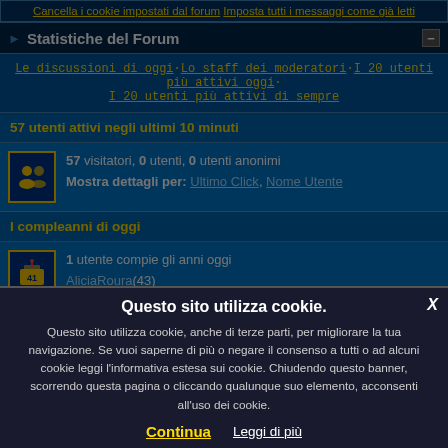Cancella i cookie impostati dal forum · Imposta tutti i messaggi come già letti
Statistiche del Forum
Le discussioni di oggi · Lo staff dei moderatori · I 20 utenti più attivi oggi · I 20 utenti più attivi di sempre
57 utenti attivi negli ultimi 10 minuti
57 visitatori, 0 utenti, 0 utenti anonimi
Mostra dettagli per: Ultimo Click, Nome Utente
I compleanni di oggi
1 utente compie gli anni oggi
AliciaRoura(43)
Eventi in Calendario nei prossimi 1 giorni
Non ci sono eventi in Calendario nei prossimi giorni
Questo sito utilizza cookie.
Questo sito utilizza cookie, anche di terze parti, per migliorare la tua navigazione. Se vuoi saperne di più o negare il consenso a tutti o ad alcuni cookie leggi l'informativa estesa sui cookie. Chiudendo questo banner, scorrendo questa pagina o cliccando qualunque suo elemento, acconsenti all'uso dei cookie.
Continua  Leggi di più